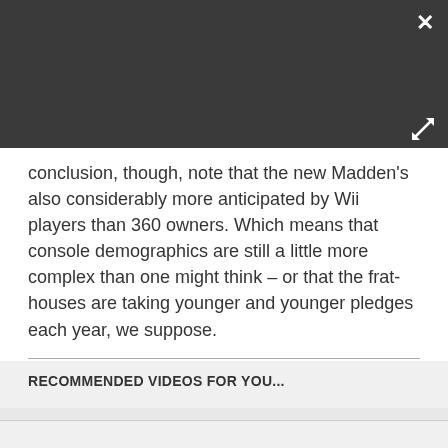[Figure (screenshot): Dark grey overlay at top of modal/lightbox with close (×) button in top-right corner and expand/resize icon in right side]
conclusion, though, note that the new Madden's also considerably more anticipated by Wii players than 360 owners. Which means that console demographics are still a little more complex than one might think – or that the frat-houses are taking younger and younger pledges each year, we suppose.
RECOMMENDED VIDEOS FOR YOU...